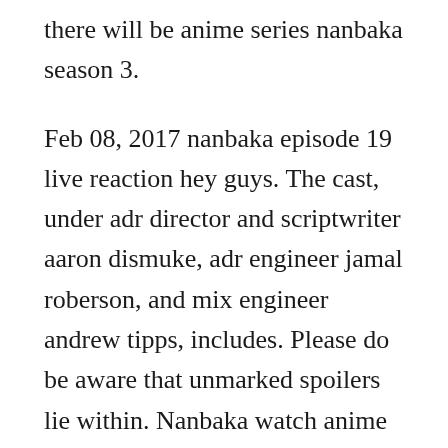there will be anime series nanbaka season 3.
Feb 08, 2017 nanbaka episode 19 live reaction hey guys. The cast, under adr director and scriptwriter aaron dismuke, adr engineer jamal roberson, and mix engineer andrew tipps, includes. Please do be aware that unmarked spoilers lie within. Nanbaka watch anime online english subbeddubbed animefrenzy.
This current episode arc has been a godsend for the show to address its weaknesses, like the supporting cast being underdeveloped. These troublemakers are giving a headache to